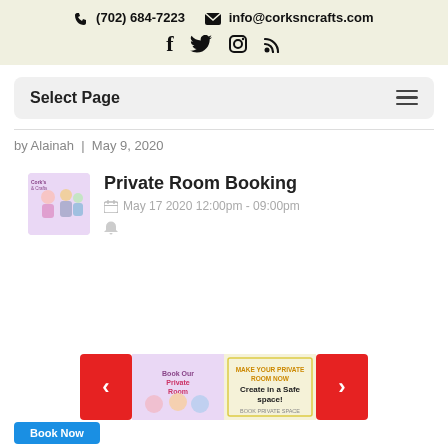📞 (702) 684-7223   ✉ info@corksncrafts.com
 f  t  ig  rss
Select Page
by Alainah | May 9, 2020
Private Room Booking
May 17 2020 12:00pm - 09:00pm
[Figure (photo): Thumbnail image showing cartoon characters for Private Room Booking event]
[Figure (photo): Carousel slide 1: Book Our Private Room promotional image with hands raised]
[Figure (photo): Carousel slide 2: Create in a Safe space! flyer]
< (previous) > (next) carousel navigation buttons